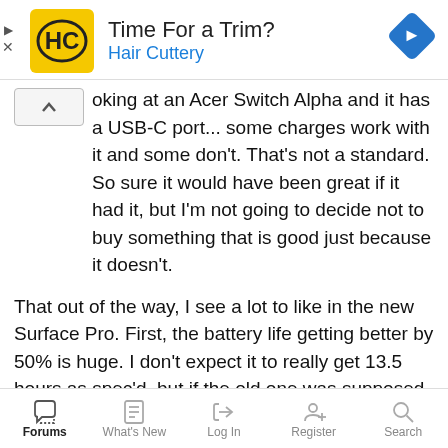[Figure (infographic): Hair Cuttery advertisement banner with logo, text 'Time For a Trim? Hair Cuttery', and a blue navigation diamond icon]
…looking at an Acer Switch Alpha and it has a USB-C port... some charges work with it and some don't. That's not a standard. So sure it would have been great if it had it, but I'm not going to decide not to buy something that is good just because it doesn't.
That out of the way, I see a lot to like in the new Surface Pro. First, the battery life getting better by 50% is huge. I don't expect it to really get 13.5 hours as spec'd, but if the old one was supposed to get 9 and people got 5-6, then the new one should get 8-9 which means it will likely get you through a work day or plane trip, as long as you aren't doing something crazy.
Forums | What's New | Log In | Register | Search